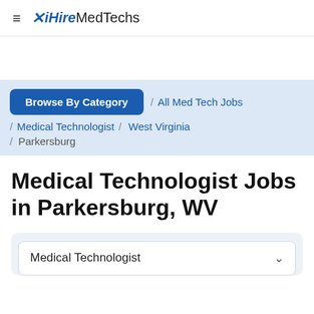≡ ✕ iHireMedTechs
Browse By Category / All Med Tech Jobs / Medical Technologist / West Virginia / Parkersburg
Medical Technologist Jobs in Parkersburg, WV
Medical Technologist